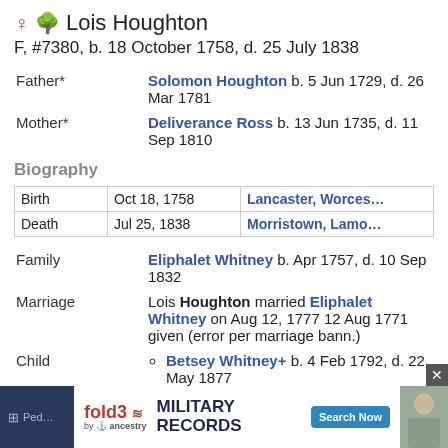♀ 🌳 Lois Houghton
F, #7380, b. 18 October 1758, d. 25 July 1838
| Field | Value |
| --- | --- |
| Father* | Solomon Houghton b. 5 Jun 1729, d. 26 Mar 1781 |
| Mother* | Deliverance Ross b. 13 Jun 1735, d. 11 Sep 1810 |
Biography
| Event | Date | Place |
| --- | --- | --- |
| Birth | Oct 18, 1758 | Lancaster, Worces… |
| Death | Jul 25, 1838 | Morristown, Lamo… |
| Field | Value |
| --- | --- |
| Family | Eliphalet Whitney b. Apr 1757, d. 10 Sep 1832 |
| Marriage | Lois Houghton married Eliphalet Whitney on Aug 12, 1777 12 Aug 1771 given (error per marriage bann.) |
| Child | Betsey Whitney+ b. 4 Feb 1792, d. 22 May 1877 |